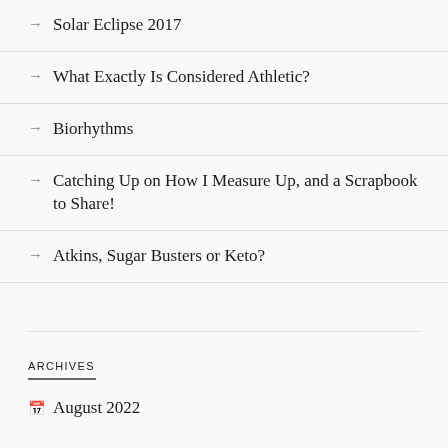Solar Eclipse 2017
What Exactly Is Considered Athletic?
Biorhythms
Catching Up on How I Measure Up, and a Scrapbook to Share!
Atkins, Sugar Busters or Keto?
ARCHIVES
August 2022